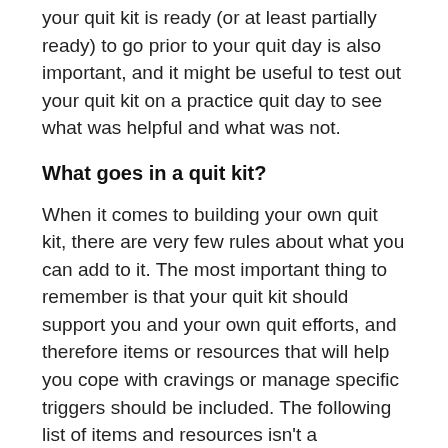your quit kit is ready (or at least partially ready) to go prior to your quit day is also important, and it might be useful to test out your quit kit on a practice quit day to see what was helpful and what was not.
What goes in a quit kit?
When it comes to building your own quit kit, there are very few rules about what you can add to it. The most important thing to remember is that your quit kit should support you and your own quit efforts, and therefore items or resources that will help you cope with cravings or manage specific triggers should be included. The following list of items and resources isn't a mandatory or even complete list by any means. Rather, it's here to give ideas and be a starting point for